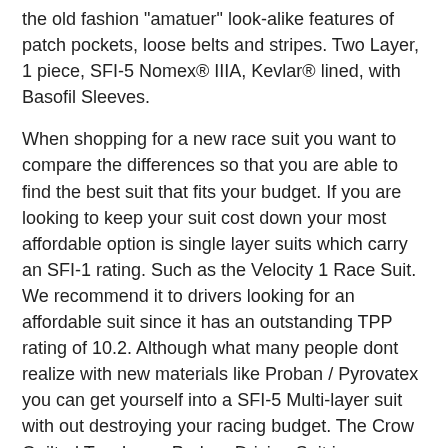the old fashion "amatuer" look-alike features of patch pockets, loose belts and stripes. Two Layer, 1 piece, SFI-5 Nomex® IIIA, Kevlar® lined, with Basofil Sleeves.
When shopping for a new race suit you want to compare the differences so that you are able to find the best suit that fits your budget. If you are looking to keep your suit cost down your most affordable option is single layer suits which carry an SFI-1 rating. Such as the Velocity 1 Race Suit. We recommend it to drivers looking for an affordable suit since it has an outstanding TPP rating of 10.2. Although what many people dont realize with new materials like Proban / Pyrovatex you can get yourself into a SFI-5 Multi-layer suit with out destroying your racing budget. The Crow Quilted Two Layer Proban Driving Suit is a very popular choice for any driver looking for an entry level suit. Even in the lower priced SFI-5 suits you can still find a suit that has a custom look to it such as the Velocity 5 Multi-Layer Race Suit with its Euro styling it will get you noticed by everyone. If you wanted a suit made with lightweight material such as Nomex or Aramidic fabric the Alpinestars GP Start Suit is a good place to start. Now if you want suit with features like arm gussets and a stretch panel in the back take a look at the Alpinestars GP Race Suit or the Simpson Crossover Racing Suit. They are2 of our top of the line SFI-5 suits